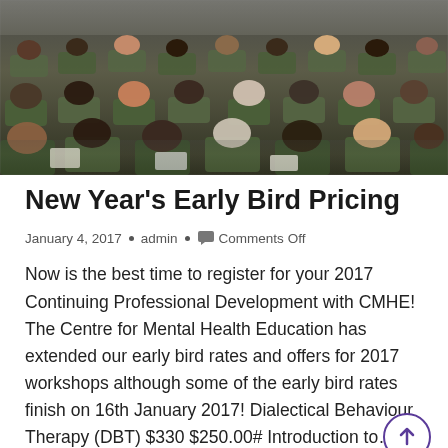[Figure (photo): Overhead/rear view of an audience sitting in green chairs at a conference or professional development session. People are seated with papers and devices, viewed from behind.]
New Year's Early Bird Pricing
January 4, 2017 • admin • Comments Off
Now is the best time to register for your 2017 Continuing Professional Development with CMHE! The Centre for Mental Health Education has extended our early bird rates and offers for 2017 workshops although some of the early bird rates finish on 16th January 2017! Dialectical Behaviour Therapy (DBT) $330 $250.00# Introduction to…